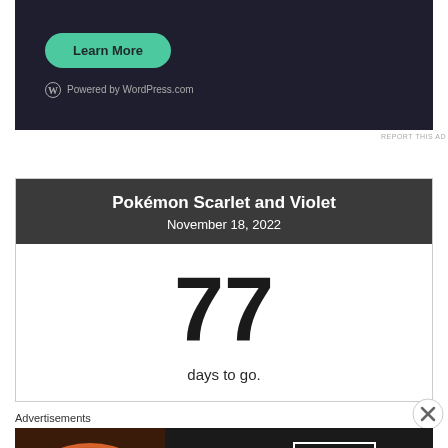[Figure (screenshot): WordPress.com advertisement with dark background showing a 'Learn More' teal button and 'Powered by WordPress.com' logo at bottom left]
REPORT THIS AD
[Figure (infographic): Countdown widget for Pokémon Scarlet and Violet showing 77 days to go until November 18, 2022]
Pokémon Scarlet and Violet
November 18, 2022
77
days to go.
Advertisements
[Figure (screenshot): Seamless food delivery advertisement showing pizza with Seamless logo and 'ORDER NOW' button]